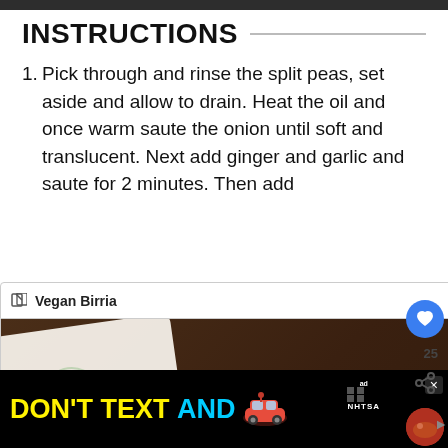INSTRUCTIONS
Pick through and rinse the split peas, set aside and allow to drain. Heat the oil and once warm saute the onion until soft and translucent. Next add ginger and garlic and saute for 2 minutes. Then add [partially obscured] leaves and chile, [partially obscured] gin to pop [partially obscured] prevent burning [partially obscured] o, split peas, [partially obscured] ll, cover and [partially obscured] as and potatoe[s] [partially obscured]-40 minutes.
[Figure (screenshot): Popup overlay showing 'Vegan Birria' with a food photo showing a pot of broth with text overlay 'reserve - 1/2 CUP BOILING BROTH', spoons visible on right]
[Figure (infographic): NHTSA ad banner: 'DON'T TEXT AND' with car emoji, ad badge, NHTSA logo, and close button]